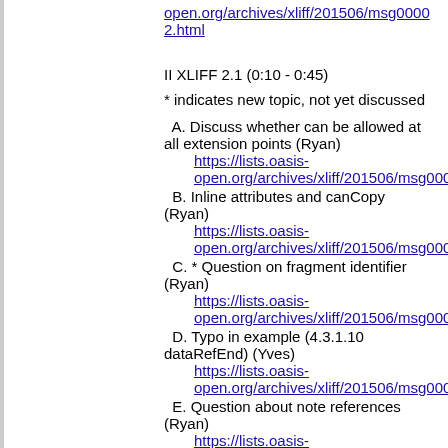open.org/archives/xliff/201506/msg00002.html
II XLIFF 2.1 (0:10 - 0:45)
* indicates new topic, not yet discussed
A. Discuss whether can be allowed at all extension points (Ryan)
https://lists.oasis-open.org/archives/xliff/201506/msg00013.html
B. Inline attributes and canCopy (Ryan)
https://lists.oasis-open.org/archives/xliff/201506/msg00015.html
C. * Question on fragment identifier (Ryan)
https://lists.oasis-open.org/archives/xliff/201506/msg00016.html
D. Typo in example (4.3.1.10 dataRefEnd) (Yves)
https://lists.oasis-open.org/archives/xliff/201506/msg00022.html
E. Question about note references (Ryan)
https://lists.oasis-open.org/archives/xliff/201506/msg00037.html
[pending AI for dF]
F. Add N Constraint to the core order attribute